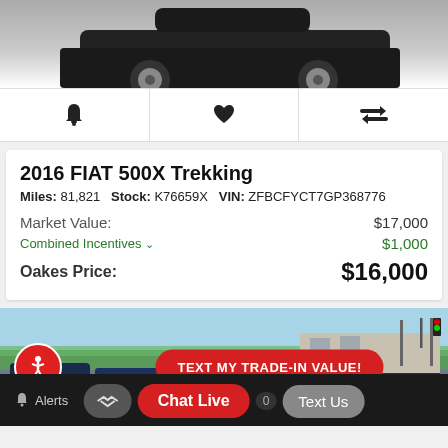[Figure (photo): Partial view of a black car from below, showing wheels and undercarriage against white background]
[Figure (infographic): Icon bar with bell (alert), heart (favorite), and compare arrows icons]
2016 FIAT 500X Trekking
Miles: 81,821   Stock: K76659X   VIN: ZFBCFYCT7GP368776
Market Value: $17,000
Combined Incentives  $1,000
Oakes Price: $16,000
[Figure (photo): Dealership car lot photo with cars parked outside, blue sky and trees in background. Contains accessibility icon button and TEXT MY TRADE-IN VALUE! red button overlay.]
Alerts   [handshake icon]   Chat Live   [0 badge]   Text Us